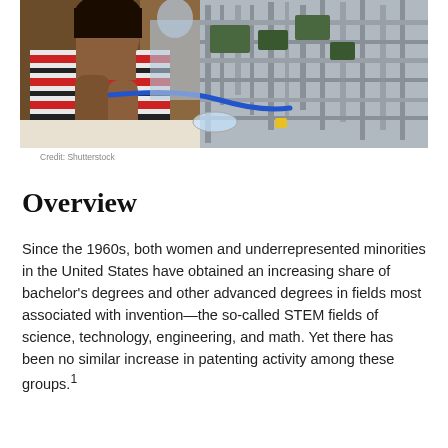[Figure (photo): A young girl in a striped shirt working on a robotics/engineering project with metal frame structures and circuit boards on a table]
Credit: Shutterstock
Overview
Since the 1960s, both women and underrepresented minorities in the United States have obtained an increasing share of bachelor's degrees and other advanced degrees in fields most associated with invention—the so-called STEM fields of science, technology, engineering, and math. Yet there has been no similar increase in patenting activity among these groups.1